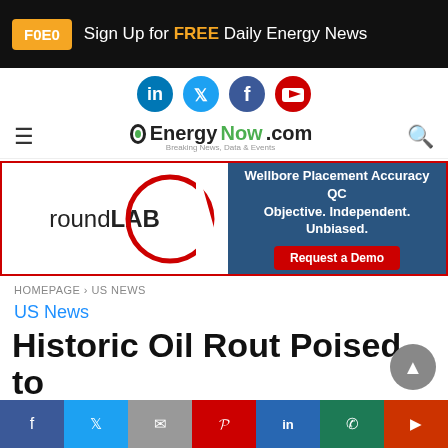F0E0  Sign Up for FREE Daily Energy News
[Figure (logo): Social media icons row: LinkedIn, Twitter, Facebook, YouTube]
[Figure (logo): EnergyNow.com logo with hamburger menu and search icon]
[Figure (infographic): roundLAB advertisement banner: Wellbore Placement Accuracy QC – Objective. Independent. Unbiased. Request a Demo]
HOMEPAGE > US NEWS
US News
Historic Oil Rout Poised to Bust Shale Turmoils
Página traducible | ترجمة | Página traduzível | অনুবাদযোগ্য পৃষ্ঠা
Facebook | Twitter | Email | Pinterest | LinkedIn | WhatsApp | Flipboard